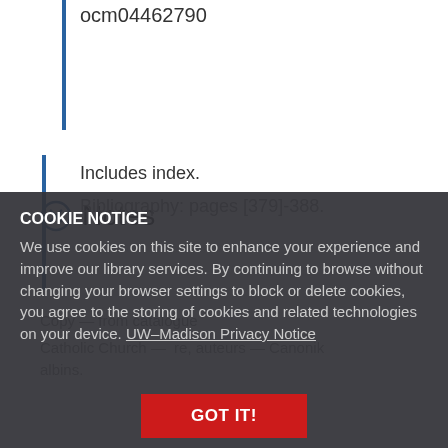ocm04462790
Notes
Includes index.
Bibliography: pages [379]-388.
COOKIE NOTICE
We use cookies on this site to enhance your experience and improve our library services. By continuing to browse without changing your browser settings to block or delete cookies, you agree to the storing of cookies and related technologies on your device. UW–Madison Privacy Notice
GOT IT!